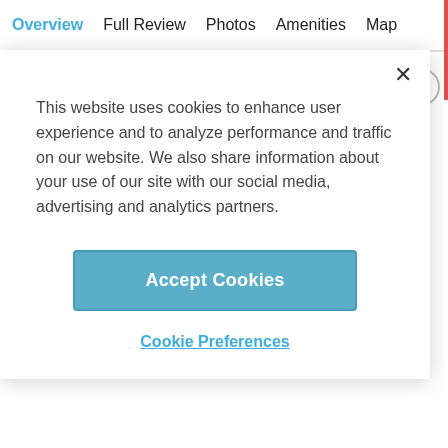Overview  Full Review  Photos  Amenities  Map
This website uses cookies to enhance user experience and to analyze performance and traffic on our website. We also share information about your use of our site with our social media, advertising and analytics partners.
Accept Cookies
Cookie Preferences
Francis Scott Key Family Resort
Ocean City
ADVERTISEMENT
MID RANGE
Princess Royale Resort